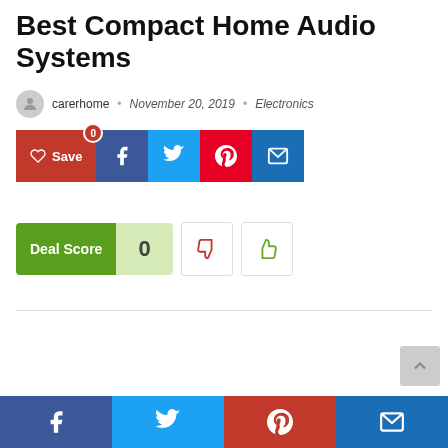Best Compact Home Audio Systems
carerhome · November 20, 2019 · Electronics
[Figure (other): Social share buttons: Save (heart), Facebook, Twitter, Pinterest, Email]
[Figure (other): Deal Score widget showing 0, with thumbs down, thumbs up buttons, comment icon, and 177 views]
[Figure (other): Bottom social share bar: Facebook, Twitter, Pinterest, Email]